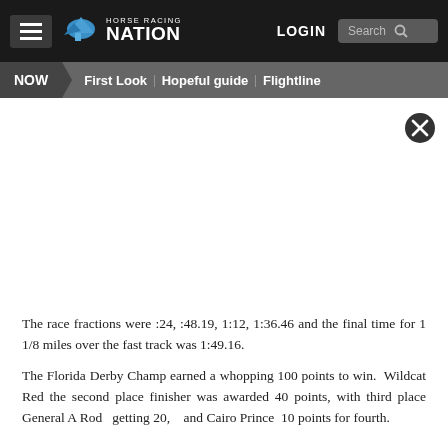Horse Racing Nation — NOW | First Look | Hopeful guide | Flightline
[Figure (screenshot): Advertisement/empty white space area with close button (X)]
The race fractions were :24, :48.19, 1:12, 1:36.46 and the final time for 1 1/8 miles over the fast track was 1:49.16.
The Florida Derby Champ earned a whopping 100 points to win. Wildcat Red the second place finisher was awarded 40 points, with third place General A Rod getting 20, and Cairo Prince 10 points for fourth.